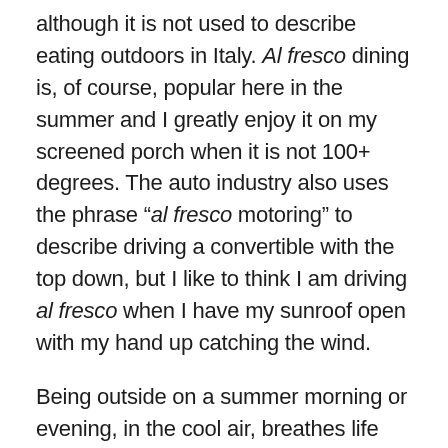although it is not used to describe eating outdoors in Italy. Al fresco dining is, of course, popular here in the summer and I greatly enjoy it on my screened porch when it is not 100+ degrees. The auto industry also uses the phrase “al fresco motoring” to describe driving a convertible with the top down, but I like to think I am driving al fresco when I have my sunroof open with my hand up catching the wind.
Being outside on a summer morning or evening, in the cool air, breathes life into each of us as we emerge from the long, cold COVID springtime and face the months ahead. I am busy with the Kent School team as we plan to return to campus for in-person learning in September. We are thinking a lot about outdoor learning and activities so that we can maximize time outside in our teaching gardens, and on the back field